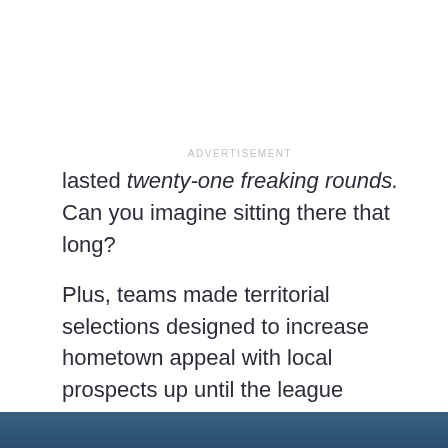ADVERTISEMENT
lasted twenty-one freaking rounds. Can you imagine sitting there that long?
Plus, teams made territorial selections designed to increase hometown appeal with local prospects up until the league eliminated that mechanism in 1966. Twelve Hall of Famers, including Wilt Chamberlain and Oscar Robertson, came off the board in that manner.
[Figure (photo): Dark blue/teal image strip at the bottom of the page, partially visible]